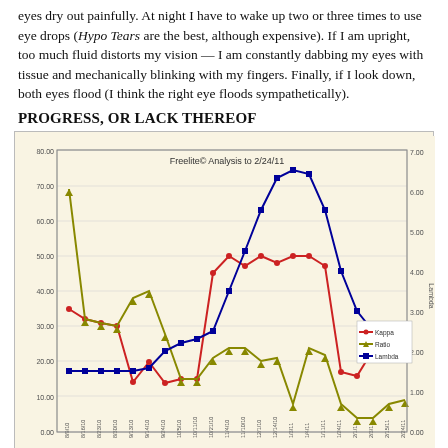eyes dry out painfully. At night I have to wake up two or three times to use eye drops (Hypo Tears are the best, although expensive). If I am upright, too much fluid distorts my vision — I am constantly dabbing my eyes with tissue and mechanically blinking with my fingers. Finally, if I look down, both eyes flood (I think the right eye floods sympathetically).
PROGRESS, OR LACK THEREOF
[Figure (line-chart): Multi-series line chart showing Kappa, Ratio, and Lambda values over time from approximately 8/9/10 to 2/24/11. Left y-axis ranges 0-80, right y-axis ranges 0-7. Three lines: red (Kappa), olive/yellow-green (Ratio), and dark blue (Lambda).]
Click on the Chart to Enlarge